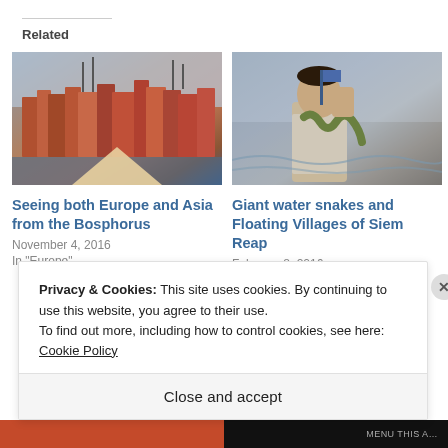Related
[Figure (photo): Aerial/hillside view of densely packed colorful buildings in Istanbul with a skyline and water in background (Bosphorus)]
Seeing both Europe and Asia from the Bosphorus
November 4, 2016
In "Europe"
[Figure (photo): Young boy holding a large snake and making a peace sign, with water in the background at a floating village in Siem Reap]
Giant water snakes and Floating Villages of Siem Reap
February 8, 2016
In "Asia"
Privacy & Cookies: This site uses cookies. By continuing to use this website, you agree to their use.
To find out more, including how to control cookies, see here: Cookie Policy
Close and accept